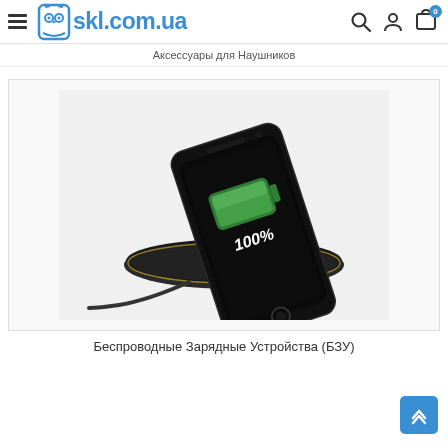skl.com.ua
Аксессуары для Наушников
[Figure (photo): A smartphone showing 100% battery charge on its screen, resting on a round wireless charging pad with a cable attached]
Беспроводные Зарядные Устройства (БЗУ)